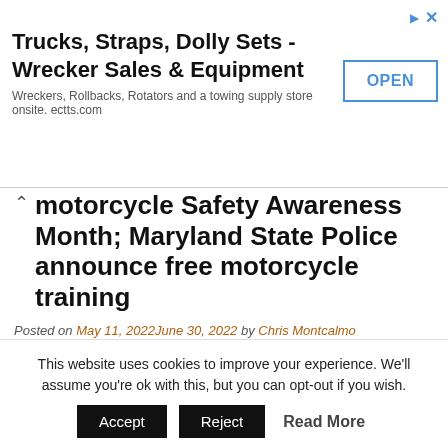[Figure (other): Advertisement banner: Trucks, Straps, Dolly Sets - Wrecker Sales & Equipment. Wreckers, Rollbacks, Rotators and a towing supply store onsite. ectts.com. OPEN button.]
Motorcycle Safety Awareness Month; Maryland State Police announce free motorcycle training
Posted on May 11, 2022June 30, 2022 by Chris Montcalmo
GLEN BURNIE, MD—To raise awareness and encourage all travelers to share the road with motorcycle riders, Governor Larry Hogan has proclaimed the month of May as Motorcycle Safety Awareness Month in Maryland. In support of the proclamation and general motorcyclists' safety, the Maryland Department of
This website uses cookies to improve your experience. We'll assume you're ok with this, but you can opt-out if you wish.